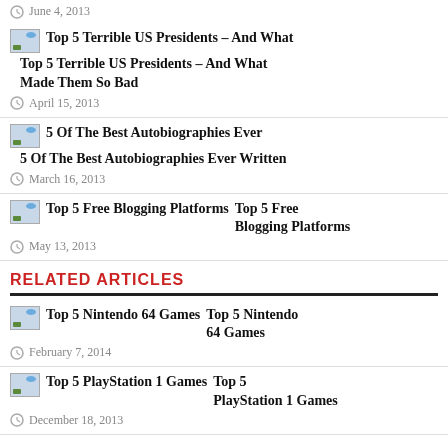June 4, 2013
Top 5 Terrible US Presidents – And What Made Them So Bad
April 15, 2013
5 Of The Best Autobiographies Ever Written
March 16, 2013
Top 5 Free Blogging Platforms
May 13, 2013
RELATED ARTICLES
Top 5 Nintendo 64 Games
February 7, 2014
Top 5 PlayStation 1 Games
December 18, 2013